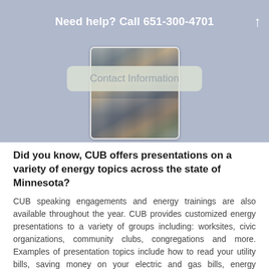Need help? Call 651-300-4701
[Figure (photo): People sitting at tables in a meeting or presentation room, viewed from the side.]
Did you know, CUB offers presentations on a variety of energy topics across the state of Minnesota?
CUB speaking engagements and energy trainings are also available throughout the year. CUB provides customized energy presentations to a variety of groups including: worksites, civic organizations, community clubs, congregations and more. Examples of presentation topics include how to read your utility bills, saving money on your electric and gas bills, energy efficiency, and energy policy and trends. We are continuously adding more topics and each presentation is customized to fit the interests of your group.
[Figure (photo): Partial view of another meeting or presentation room photo at the bottom of the page.]